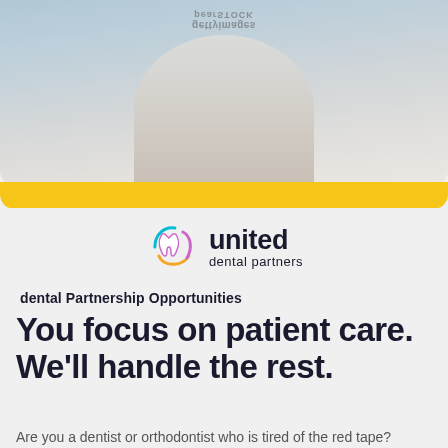[Figure (photo): Photo of a person (dentist or patient) with Getty Images / Pearstock watermark visible in upper portion, with yellow accent bar at bottom of photo area]
[Figure (logo): United Dental Partners logo with colorful tooth icon (teal, purple, yellow/orange swoosh lines) and text 'united dental partners']
dental Partnership Opportunities
You focus on patient care. We’ll handle the rest.
Are you a dentist or orthodontist who is tired of the red tape?